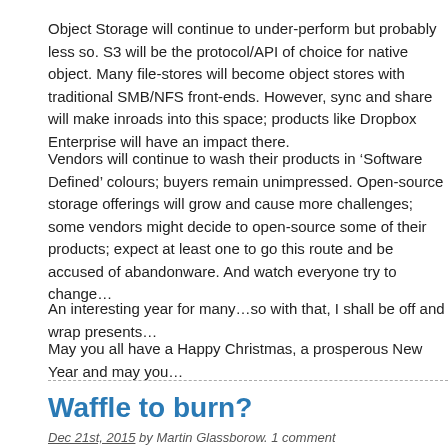Object Storage will continue to under-perform but probably less so. S3 will be the protocol/API of choice for native object. Many file-stores will become object stores with traditional SMB/NFS front-ends. However, sync and share will make inroads into this space; products like Dropbox Enterprise will have an impact there.
Vendors will continue to wash their products in ‘Software Defined’ colours; buyers remain unimpressed. Open-source storage offerings will grow and cause more challenges; some vendors might decide to open-source some of their products; expect at least one to go this route and be accused of abandonware. And watch everyone try to change…
An interesting year for many…so with that, I shall be off and wrap presents…
May you all have a Happy Christmas, a prosperous New Year and may you…
Waffle to burn?
Dec 21st, 2015 by Martin Glassborow. 1 comment
NetApp have finally bitten the bullet and bought an AFA vendor; plumping f… as opposed to some of the marketing driven competitors in the space.
At less than a billion dollars; it appears to be a very good deal for NetApp a…